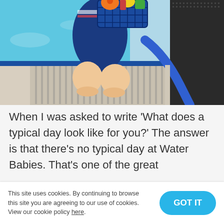[Figure (photo): A child kneeling at the edge of a swimming pool, holding a blue basket full of colorful pool toys. A blue foam noodle is visible on the pool deck. The pool water is bright blue in the background.]
When I was asked to write 'What does a typical day look like for you?' The answer is that there's no typical day at Water Babies. That's one of the great
This site uses cookies. By continuing to browse this site you are agreeing to our use of cookies. View our cookie policy here.